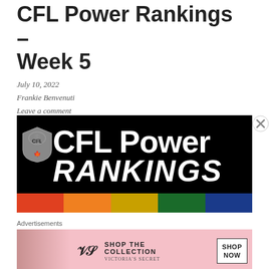CFL Power Rankings – Week 5
July 10, 2022
Frankie Benvenuti
Leave a comment
[Figure (illustration): CFL Power Rankings banner image with large white text reading 'CFL Power RANKINGS' on a black background, with a CFL shield logo on the left and team logos along the bottom strip]
Advertisements
[Figure (photo): Victoria's Secret advertisement banner with a model on the left, VS logo, text 'SHOP THE COLLECTION' and a 'SHOP NOW' button on a pink background]